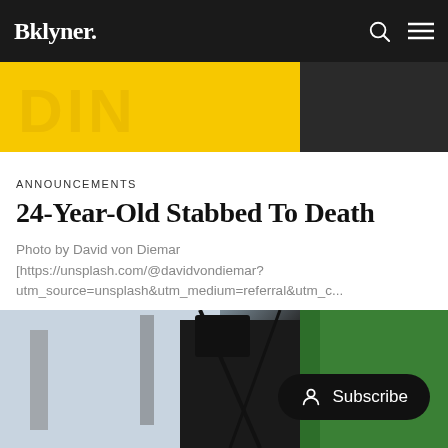Bklyner.
[Figure (photo): Yellow crime scene tape close-up photo at top of page]
ANNOUNCEMENTS
24-Year-Old Stabbed To Death
Photo by David von Diemar [https://unsplash.com/@davidvondiemar?utm_source=unsplash&utm_medium=referral&utm_c...
Bklyner Staff
Dec 24, 2020 • 1 min read
[Figure (photo): Outdoor scene photo with tent/canopy structure and green jacket; Subscribe button overlay]